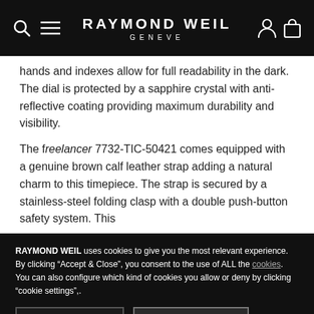RAYMOND WEIL GENEVE
hands and indexes allow for full readability in the dark. The dial is protected by a sapphire crystal with anti-reflective coating providing maximum durability and visibility.
The freelancer 7732-TIC-50421 comes equipped with a genuine brown calf leather strap adding a natural charm to this timepiece. The strap is secured by a stainless-steel folding clasp with a double push-button safety system. This
RAYMOND WEIL uses cookies to give you the most relevant experience. By clicking “Accept & Close”, you consent to the use of ALL the cookies. You can also configure which kind of cookies you allow or deny by clicking “cookie settings”,.